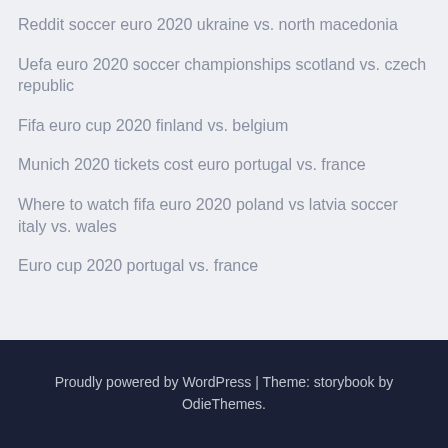Reddit soccer euro 2020 ukraine vs. north macedonia
Uefa euro 2020 soccer championships scotland vs. czech republic
Fifa euro cup 2020 finland vs. belgium
Munich 2020 tickets cost euro portugal vs. france
Where to watch fifa euro 2020 poland vs latvia soccer italy vs. wales
Euro cup 2020 portugal vs. france
Proudly powered by WordPress | Theme: storybook by OdieThemes.